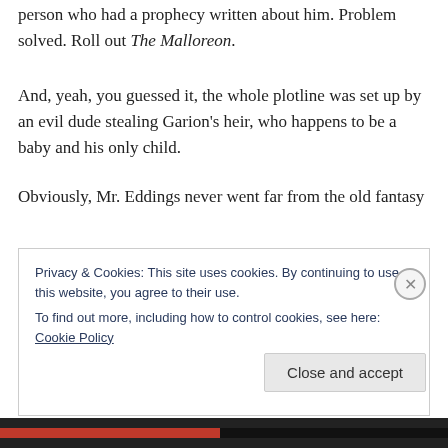person who had a prophecy written about him. Problem solved. Roll out The Malloreon.
And, yeah, you guessed it, the whole plotline was set up by an evil dude stealing Garion's heir, who happens to be a baby and his only child.
Obviously, Mr. Eddings never went far from the old fantasy
Privacy & Cookies: This site uses cookies. By continuing to use this website, you agree to their use.
To find out more, including how to control cookies, see here: Cookie Policy
Close and accept